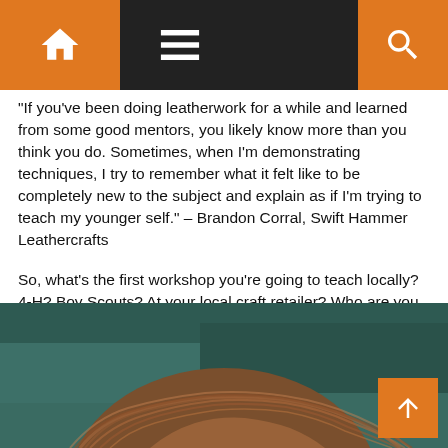[Figure (screenshot): Website navigation bar with orange home icon on left, hamburger menu icon, and orange search icon on right, all on dark background]
“If you’ve been doing leatherwork for a while and learned from some good mentors, you likely know more than you think you do. Sometimes, when I’m demonstrating techniques, I try to remember what it felt like to be completely new to the subject and explain as if I’m trying to teach my younger self.”  –  Brandon Corral, Swift Hammer Leathercrafts
So, what’s the first workshop you’re going to teach locally? 4-H? Boy Scouts? At your local craft retailer? Who are you going to inspire? How will you contribute to the growth and evolution of this craft? What role will be teaching play in your business plan? Whatever your answer is to any of the above questions, I have to say, I’m excited for you to start this journey. I look forward to taking one of your classes someday.
[Figure (photo): Close-up photo of the back of a person's head showing brown/auburn hair against a dark teal/green background]